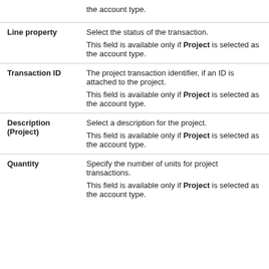|  | the account type. |
| Line property | Select the status of the transaction.

This field is available only if Project is selected as the account type. |
| Transaction ID | The project transaction identifier, if an ID is attached to the project.

This field is available only if Project is selected as the account type. |
| Description (Project) | Select a description for the project.

This field is available only if Project is selected as the account type. |
| Quantity | Specify the number of units for project transactions.

This field is available only if Project is selected as the account type. |